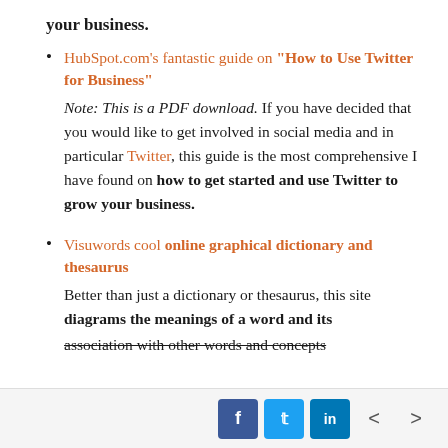your business.
HubSpot.com's fantastic guide on "How to Use Twitter for Business"
Note: This is a PDF download. If you have decided that you would like to get involved in social media and in particular Twitter, this guide is the most comprehensive I have found on how to get started and use Twitter to grow your business.
Visuwords cool online graphical dictionary and thesaurus
Better than just a dictionary or thesaurus, this site diagrams the meanings of a word and its association with other words and concepts
f  t  in  < >